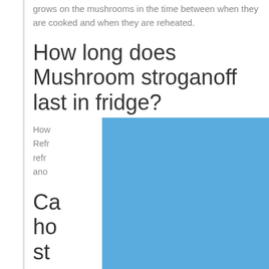grows on the mushrooms in the time between when they are cooked and when they are reheated.
How long does Mushroom stroganoff last in fridge?
How ... Refrigerated mushroom stroganoff in the refrigerator ... good for another ...
Ca... ho... st...
Do ... for
[Figure (screenshot): Blue advertisement overlay with a black X close button in the upper right corner, partially covering the page content.]